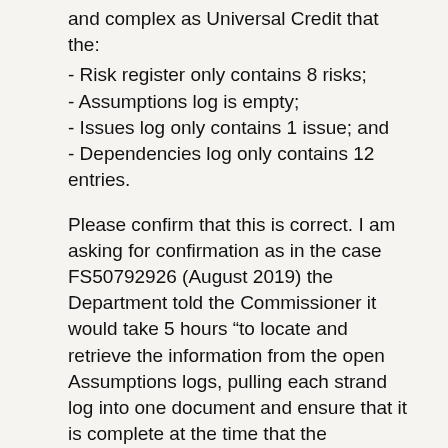and complex as Universal Credit that the:
- Risk register only contains 8 risks;
- Assumptions log is empty;
- Issues log only contains 1 issue; and
- Dependencies log only contains 12 entries.
Please confirm that this is correct. I am asking for confirmation as in the case FS50792926 (August 2019) the Department told the Commissioner it would take 5 hours “to locate and retrieve the information from the open Assumptions logs, pulling each strand log into one document and ensure that it is complete at the time that the requested information is being supplied.”
The Commissioner also asked the Department during her investigation:
“Normally RAID information would be held in separate formal logs or
registers to allow for ease of access and updating. This could be MS